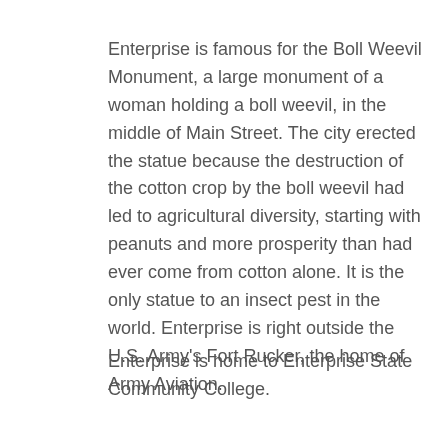Enterprise is famous for the Boll Weevil Monument, a large monument of a woman holding a boll weevil, in the middle of Main Street. The city erected the statue because the destruction of the cotton crop by the boll weevil had led to agricultural diversity, starting with peanuts and more prosperity than had ever come from cotton alone. It is the only statue to an insect pest in the world. Enterprise is right outside the U.S. Army's Fort Rucker, the home of Army Aviation.
Enterprise is home to Enterprise State Community College.